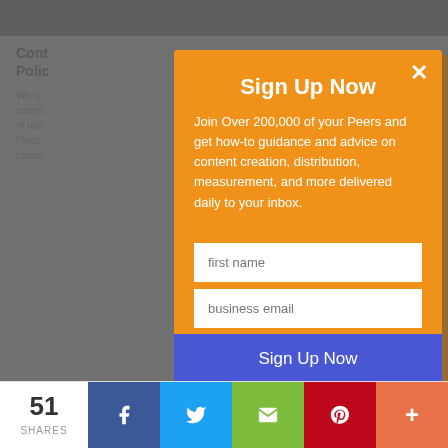[Figure (screenshot): Website background showing a comment policy page partially obscured by a modal popup overlay. Bottom bar shows social share buttons including Facebook, Twitter, email, Pinterest, and a plus button with 51 shares count.]
Sign Up Now
Join Over 200,000 of your Peers and get how-to guidance and advice on content creation, distribution, measurement, and more delivered daily to your inbox.
first name
business email
Sign Up Now
Recommended for you
51
SHARES